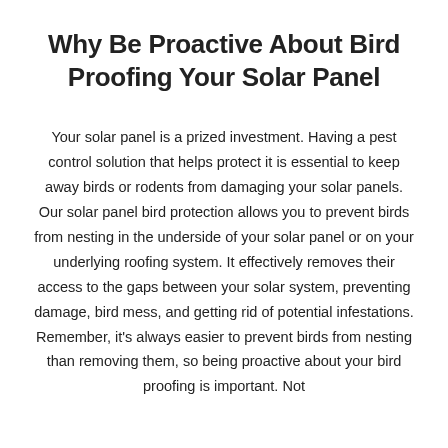Why Be Proactive About Bird Proofing Your Solar Panel
Your solar panel is a prized investment. Having a pest control solution that helps protect it is essential to keep away birds or rodents from damaging your solar panels. Our solar panel bird protection allows you to prevent birds from nesting in the underside of your solar panel or on your underlying roofing system. It effectively removes their access to the gaps between your solar system, preventing damage, bird mess, and getting rid of potential infestations. Remember, it's always easier to prevent birds from nesting than removing them, so being proactive about your bird proofing is important. Not